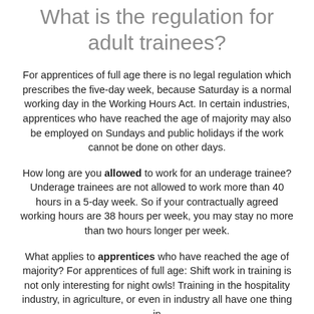What is the regulation for adult trainees?
For apprentices of full age there is no legal regulation which prescribes the five-day week, because Saturday is a normal working day in the Working Hours Act. In certain industries, apprentices who have reached the age of majority may also be employed on Sundays and public holidays if the work cannot be done on other days.
How long are you allowed to work for an underage trainee? Underage trainees are not allowed to work more than 40 hours in a 5-day week. So if your contractually agreed working hours are 38 hours per week, you may stay no more than two hours longer per week.
What applies to apprentices who have reached the age of majority? For apprentices of full age: Shift work in training is not only interesting for night owls! Training in the hospitality industry, in agriculture, or even in industry all have one thing in